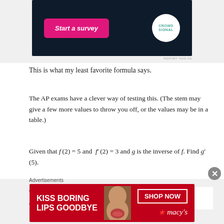[Figure (other): Top advertisement banner: dark navy background with a pink 'Start a survey' button and the Crowd Signal logo (white circle with CROWD SIGNAL text)]
REPORT THIS AD
This is what my least favorite formula says.
The AP exams have a clever way of testing this. (The stem may give a few more values to throw you off, or the values may be in a table.)
Given that f(2) = 5 and f′(2) = 3 and g is the inverse of f. Find g′(5).
The solution is reasoned this way: (5, ?) is a point on g. The corresponding point on f is (?, 5) = (2, 5). The
Advertisements
[Figure (other): Bottom advertisement: red Macy's ad with text 'KISS BORING LIPS GOODBYE', a woman's face, 'SHOP NOW' button, and Macy's star logo]